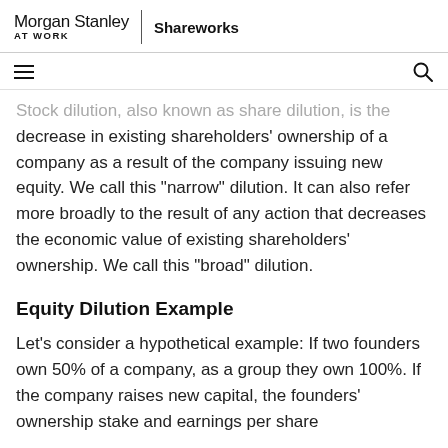Morgan Stanley AT WORK | Shareworks
Stock dilution, also known as share dilution, is the decrease in existing shareholders' ownership of a company as a result of the company issuing new equity. We call this “narrow” dilution. It can also refer more broadly to the result of any action that decreases the economic value of existing shareholders’ ownership. We call this “broad” dilution.
Equity Dilution Example
Let’s consider a hypothetical example: If two founders own 50% of a company, as a group they own 100%. If the company raises new capital, the founders’ ownership stake and earnings per share